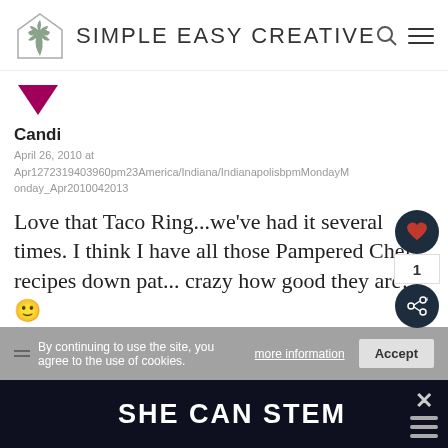SIMPLE EASY CREATIVE
[Figure (illustration): Purple/magenta downward-pointing chevron or avatar placeholder icon]
Candi
April 26, 2010 at Apr1272319403960pm23America/Indiana/IndianapolisbpmMondayMonday_Apr2010042013
Love that Taco Ring...we’ve had it several times. I think I have all those Pampered Chef recipes down pat... crazy how good they are! 😊
By continuing to use the site, you agree to the use of cookies.
more information
Accept
SHE CAN STEM